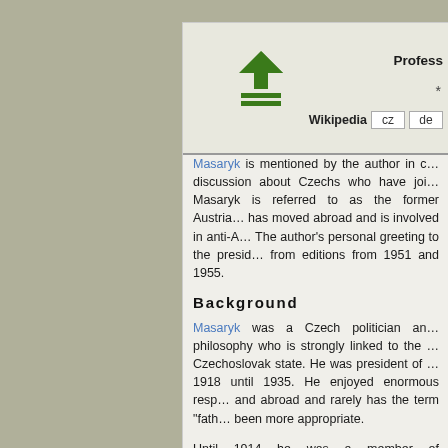[Figure (other): Upload/bookmark icon - green upward arrow with lines]
Profess…
Wikipedia  cz  de
Masaryk is mentioned by the author in c… discussion about Czechs who have joi… Masaryk is referred to as the former Austria… has moved abroad and is involved in anti-A… The author's personal greeting to the presid… from editions from 1951 and 1955.
Background
Masaryk was a Czech politician an… philosophy who is strongly linked to the … Czechoslovak state. He was president of … 1918 until 1935. He enjoyed enormous resp… and abroad and rarely has the term "fath… been more appropriate.
Until 1914 he was a member of parliament… and was still loyal to Austria-Hungary, bu…